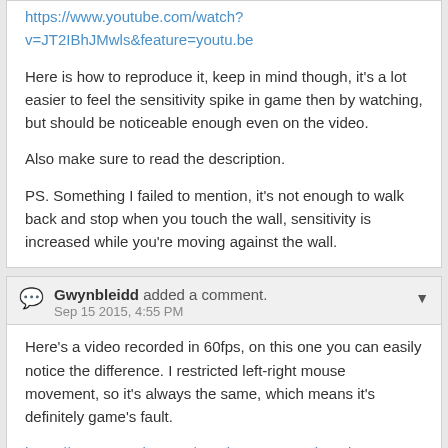https://www.youtube.com/watch?v=JT2IBhJMwls&feature=youtu.be
Here is how to reproduce it, keep in mind though, it's a lot easier to feel the sensitivity spike in game then by watching, but should be noticeable enough even on the video.
Also make sure to read the description.
PS. Something I failed to mention, it's not enough to walk back and stop when you touch the wall, sensitivity is increased while you're moving against the wall.
Gwynbleidd added a comment. Sep 15 2015, 4:55 PM
Here's a video recorded in 60fps, on this one you can easily notice the difference. I restricted left-right mouse movement, so it's always the same, which means it's definitely game's fault.
https://www.youtube.com/watch?v=HnZPzZkvK4k